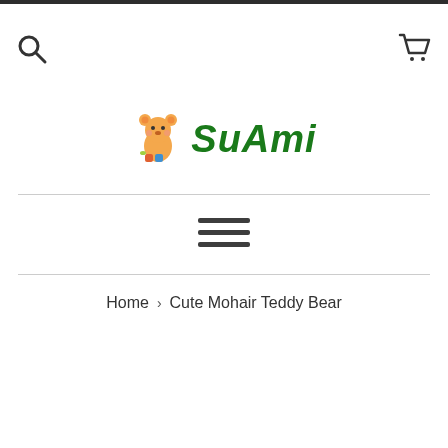[Figure (logo): SuAmi logo with cartoon bear mascot and green italic bold text 'SuAmi']
Home › Cute Mohair Teddy Bear